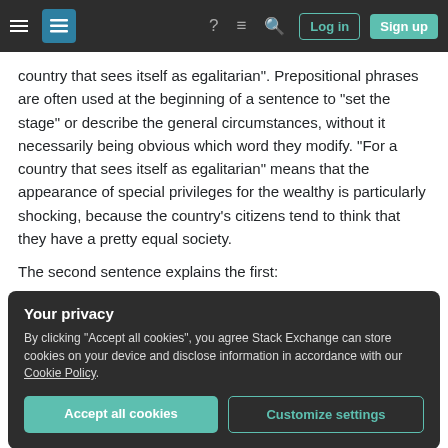Stack Exchange navigation bar with hamburger menu, logo, help, chat, search, Log in, Sign up
country that sees itself as egalitarian". Prepositional phrases are often used at the beginning of a sentence to "set the stage" or describe the general circumstances, without it necessarily being obvious which word they modify. "For a country that sees itself as egalitarian" means that the appearance of special privileges for the wealthy is particularly shocking, because the country's citizens tend to think that they have a pretty equal society.
The second sentence explains the first:
Your privacy
By clicking "Accept all cookies", you agree Stack Exchange can store cookies on your device and disclose information in accordance with our Cookie Policy.
Accept all cookies
Customize settings
in Germany and Scandinavia. This is testifying the close similarity or connection in the first established of